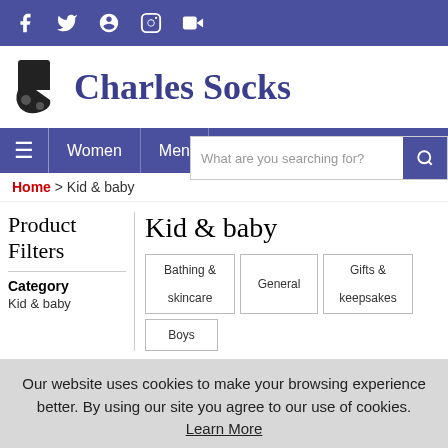Social media icons: Facebook, Twitter, Pinterest, Instagram, YouTube
Charles Socks
Navigation: Women | Men | Te... | Search: What are you searching for?
Home > Kid & baby
Product Filters
Category
Kid & baby
Kid & baby
Bathing & skincare
General
Gifts & keepsakes
Boys
Our website uses cookies to make your browsing experience better. By using our site you agree to our use of cookies. Learn More
I Agree